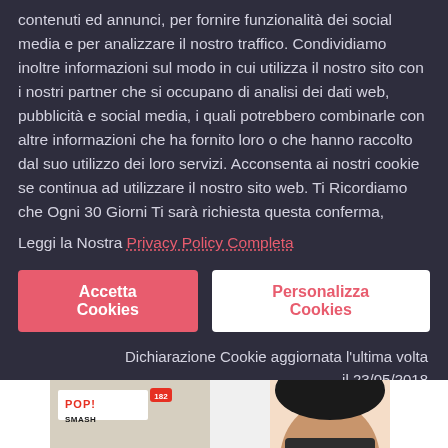contenuti ed annunci, per fornire funzionalità dei social media e per analizzare il nostro traffico. Condividiamo inoltre informazioni sul modo in cui utilizza il nostro sito con i nostri partner che si occupano di analisi dei dati web, pubblicità e social media, i quali potrebbero combinarle con altre informazioni che ha fornito loro o che hanno raccolto dal suo utilizzo dei loro servizi. Acconsenta ai nostri cookie se continua ad utilizzare il nostro sito web. Ti Ricordiamo che Ogni 30 Giorni Ti sarà richiesta questa conferma,
Leggi la Nostra Privacy Policy Completa
Accetta Cookies
Personalizza Cookies
Dichiarazione Cookie aggiornata l'ultima volta il 23/05/2018
[Figure (photo): Bottom strip showing a Funko Pop collectible box on the left and a cartoon illustration of a woman's face on the right, partially visible]